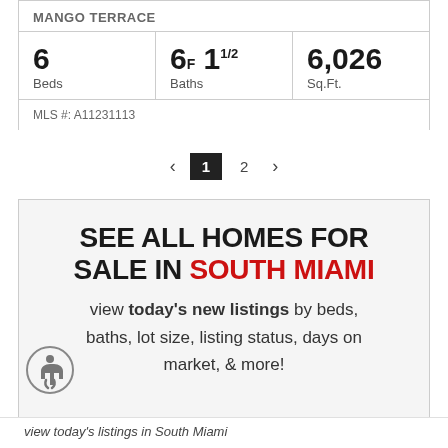MANGO TERRACE
| Beds | Baths | Sq.Ft. |
| --- | --- | --- |
| 6 | 6F 11/2 | 6,026 |
MLS #: A11231113
< 1 2 >
SEE ALL HOMES FOR SALE IN SOUTH MIAMI view today's new listings by beds, baths, lot size, listing status, days on market, & more!
view today's listings in South Miami